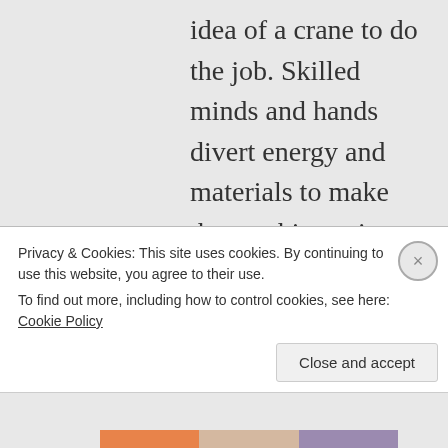idea of a crane to do the job. Skilled minds and hands divert energy and materials to make the machine using entropy in every step of the process. Smarty, with the benefit of his recently acquired great insights, comes
Privacy & Cookies: This site uses cookies. By continuing to use this website, you agree to their use. To find out more, including how to control cookies, see here: Cookie Policy
Close and accept